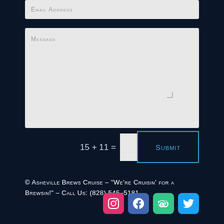[Figure (screenshot): Email address input field (light gray background, placeholder text 'Email Address' in small caps)]
[Figure (screenshot): Message textarea (light gray background, placeholder text 'Message' in small caps, resize handle at bottom right)]
15 + 11 =
[Figure (screenshot): CAPTCHA answer input box (white/light gray square)]
[Figure (screenshot): Submit button with blue border, dark background, text 'Submit' in blue small-caps]
© Asheville Brews Cruise – "We're Cruisin' for a Brewsin!" – Call Us: (828) 545-5181
[Figure (infographic): Social media icons: Instagram (pink/red), Facebook (blue), TripAdvisor (green), Twitter (light blue)]